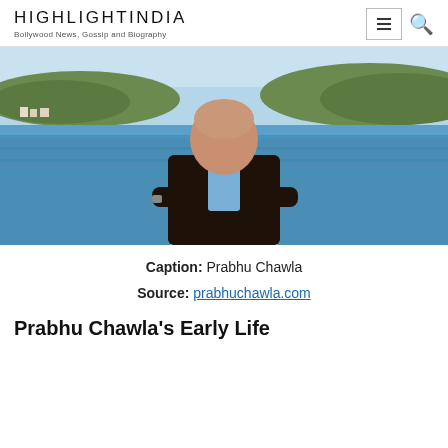HIGHLIGHTINDIA
Bollywood News, Gossip and Biography
[Figure (photo): Photo of Prabhu Chawla standing with arms crossed in front of a waterfront scene with trees in the background]
Caption: Prabhu Chawla
Source: prabhuchawla.com
Prabhu Chawla's Early Life